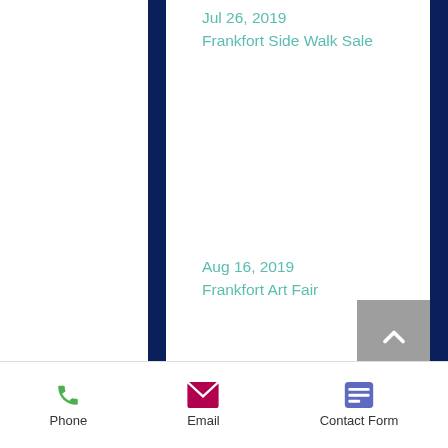Jul 26, 2019
Frankfort Side Walk Sale
Aug 16, 2019
Frankfort Art Fair
Sep 14, 2019
Triathlon
Tight Lines for Troops
Phone   Email   Contact Form